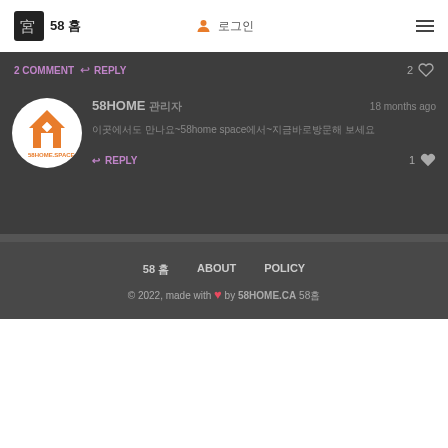58 홈 로그인 ≡
2 COMMENT ↩ REPLY  2 ♡
[Figure (logo): 58HOME logo - orange house icon in circle on white background]
58HOME 관리자  18 months ago
이곳에서도 만나요~58home space에서~지금바로방문해 보세요
↩ REPLY  1 ♡
58 홈  ABOUT  POLICY
© 2022, made with ❤ by 58HOME.CA 58홈